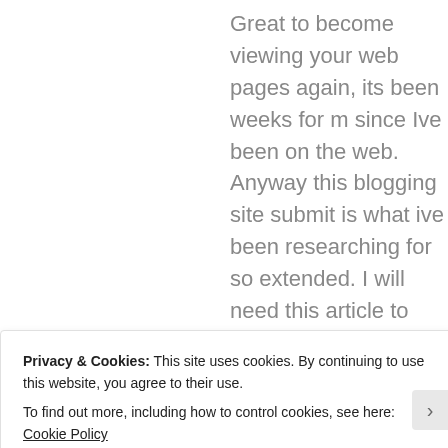Great to become viewing your web pages again, its been weeks for m since Ive been on the web. Anyway this blogging site submit is what ive been researching for so extended. I will need this article to total my university assignment, and your posting can be a best help. Cheers, stunning share. Giuseppe Zanotti Flats http://www.giuseppeszanotti.com
Like
Privacy & Cookies: This site uses cookies. By continuing to use this website, you agree to their use. To find out more, including how to control cookies, see here: Cookie Policy